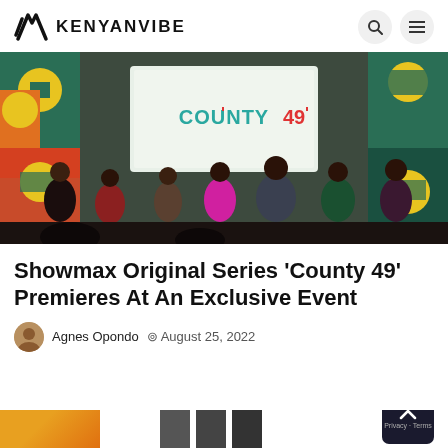KENYANVIBE
[Figure (photo): Panel of seven people seated in front of a projected screen showing 'COUNTY 49' logo, with colorful African-inspired mural art on the wall behind them.]
Showmax Original Series ‘County 49’ Premieres At An Exclusive Event
Agnes Opondo  ⊙  August 25, 2022